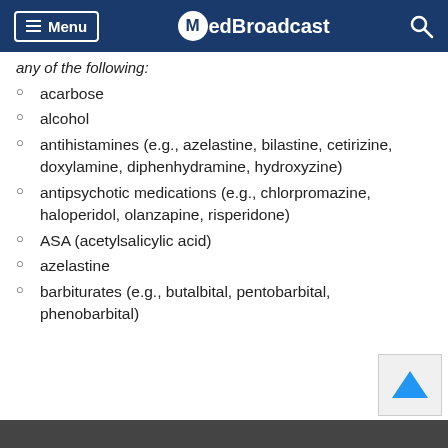Menu | MedBroadcast
any of the following:
acarbose
alcohol
antihistamines (e.g., azelastine, bilastine, cetirizine, doxylamine, diphenhydramine, hydroxyzine)
antipsychotic medications (e.g., chlorpromazine, haloperidol, olanzapine, risperidone)
ASA (acetylsalicylic acid)
azelastine
barbiturates (e.g., butalbital, pentobarbital, phenobarbital)